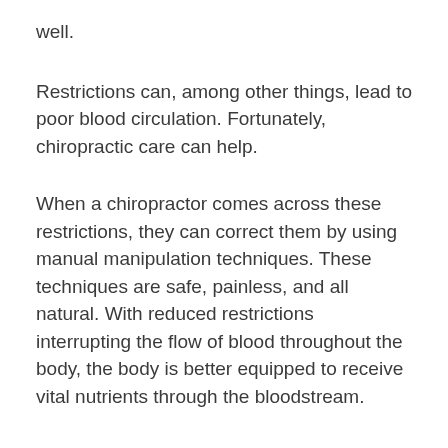well.
Restrictions can, among other things, lead to poor blood circulation. Fortunately, chiropractic care can help.
When a chiropractor comes across these restrictions, they can correct them by using manual manipulation techniques. These techniques are safe, painless, and all natural. With reduced restrictions interrupting the flow of blood throughout the body, the body is better equipped to receive vital nutrients through the bloodstream.
Of course, living an overall healthy lifestyle is the best thing you can do to keep your blood circulation going strong. Eating healthy and well-balanced meals, avoiding a sedentary lifestyle, and finding healthy ways